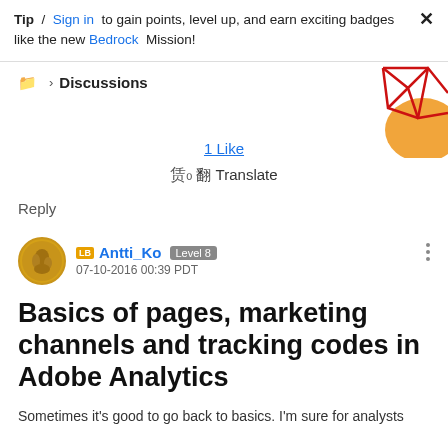Tip / Sign in to gain points, level up, and earn exciting badges like the new Bedrock Mission!
Discussions
[Figure (illustration): Decorative geometric illustration with red lines and orange circle shapes]
1 Like
Translate
Reply
Antti_Ko Level 8 07-10-2016 00:39 PDT
Basics of pages, marketing channels and tracking codes in Adobe Analytics
Sometimes it's good to go back to basics. I'm sure for analysts